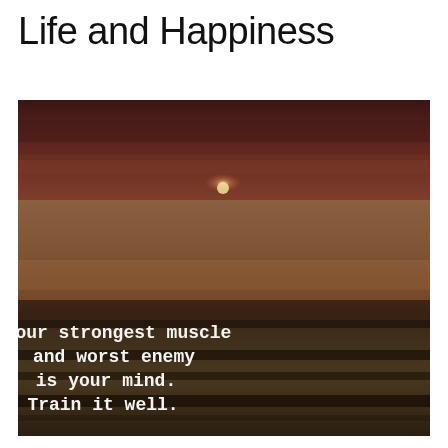Life and Happiness
[Figure (illustration): Motivational quote image over a dark landscape photo with sunset sky. White monospace text reads: 'Your strongest muscle and worst enemy is your mind. Train it well.']